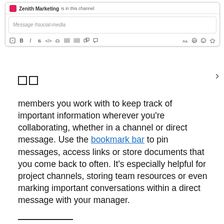[Figure (screenshot): A Slack-style chat interface screenshot showing a message input box for #social-media channel with Zenith Marketing label and a formatting toolbar with bold, italic, strikethrough, code, link, ordered list, unordered list, and other buttons.]
members you work with to keep track of important information wherever you're collaborating, whether in a channel or direct message. Use the bookmark bar to pin messages, access links or store documents that you come back to often. It's especially helpful for project channels, storing team resources or even marking important conversations within a direct message with your manager.
—